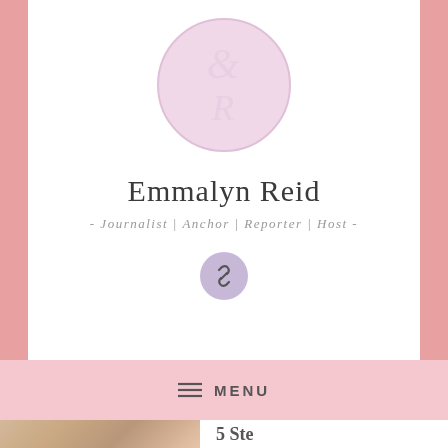[Figure (logo): Circular logo with pink/lavender background and stylized cursive initials E and R in lighter pink color]
Emmalyn Reid
- Journalist | Anchor | Reporter | Host -
[Figure (illustration): Small circular pink/purple button with a chain link icon]
≡  MENU
[Figure (photo): Partial view of a photo at the bottom of the page, showing a person, cropped. Beside it partial text reading '5 Ste...']